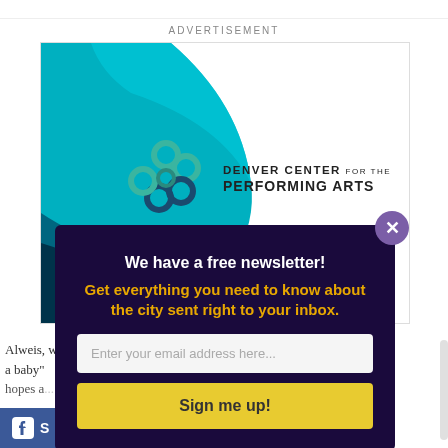ADVERTISEMENT
[Figure (logo): Denver Center for the Performing Arts logo with teal decorative background in advertisement box]
We have a free newsletter! Get everything you need to know about the city sent right to your inbox.
Enter your email address here...
Sign me up!
Alweis, w... a baby" hopes a...
[Figure (logo): Facebook logo partial bar at bottom left]